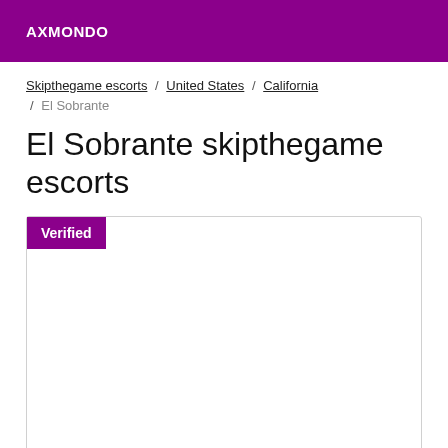AXMONDO
Skipthegame escorts / United States / California / El Sobrante
El Sobrante skipthegame escorts
[Figure (other): A card/listing area with a purple 'Verified' badge in the top-left corner and empty white content area with a border.]